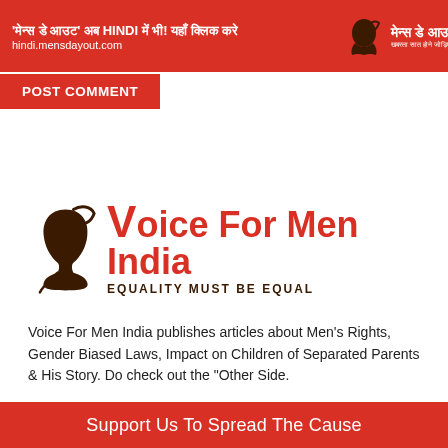'मेन्स डे आउट' अब HINDI में भी! यहाँ क्लिक करे hindi.mensdayout.com | मेन्स डे आउट
POST COMMENT
[Figure (logo): Voice For Men India logo with silhouette face icon, text 'Voice For Men India' in red-orange and 'EQUALITY MUST BE EQUAL' in dark brown]
Voice For Men India publishes articles about Men's Rights, Gender Biased Laws, Impact on Children of Separated Parents & His Story. Do check out the "Other Side.
Follow Us
Support Us To Spread The Cause